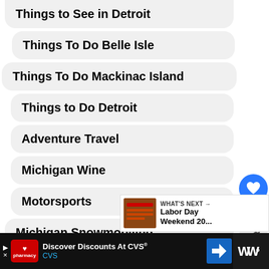Things to See in Detroit
Things To Do Belle Isle
Things To Do Mackinac Island
Things to Do Detroit
Adventure Travel
Michigan Wine
Motorsports
Michigan Snowmobiling
Snowmobiling Marquette
Vacations
[Figure (screenshot): Social sidebar with heart/like button showing count 2, and a share button]
[Figure (screenshot): What's Next promo box with thumbnail image and text: Labor Day Weekend 20...]
[Figure (screenshot): Advertisement bar: Discover Discounts At CVS® CVS, with navigation icons]